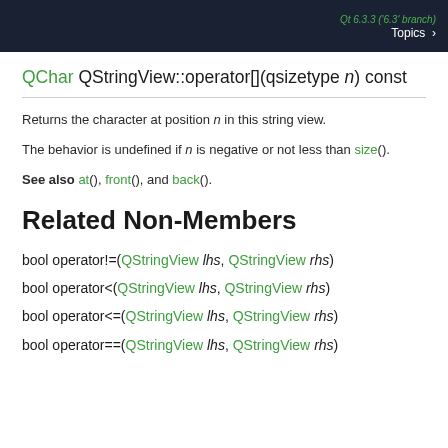Qt 6.3.3 ('6.3' branch)  Topics >
QChar QStringView::operator[](qsizetype n) const
Returns the character at position n in this string view.
The behavior is undefined if n is negative or not less than size().
See also at(), front(), and back().
Related Non-Members
bool operator!=(QStringView lhs, QStringView rhs)
bool operator<(QStringView lhs, QStringView rhs)
bool operator<=(QStringView lhs, QStringView rhs)
bool operator==(QStringView lhs, QStringView rhs)